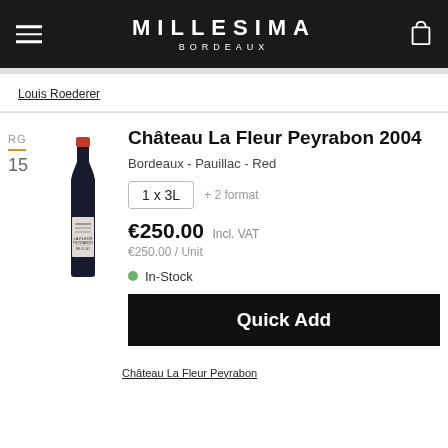MILLESIMA BORDEAUX
Louis Roederer
[Figure (photo): Wine bottle photo for Château La Fleur Peyrabon 2004 in Pauillac, red wine, tall dark bottle with red capsule and label reading La Fleur Peyrabon Pauillac]
RG
—
15
Château La Fleur Peyrabon 2004
Bordeaux - Pauillac - Red
1 x 3L  + 2 format
€250.00 Incl. VAT
€250.00 / Unit
In-Stock
Quick Add
Château La Fleur Peyrabon